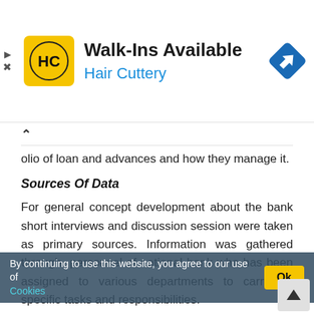[Figure (infographic): Advertisement banner for Hair Cuttery with yellow HC logo, text 'Walk-Ins Available' and 'Hair Cuttery' in blue, and a blue navigation/directions icon on the right]
olio of loan and advances and how they manage it.
Sources Of Data
For general concept development about the bank short interviews and discussion session were taken as primary sources. Information was gathered through personnel of national bank who has been assigned to various departments to carry on specific tasks and responsibilities.
[Figure (infographic): Cookie consent overlay: 'By continuing to use this website, you agree to our use of Cookies' with an Ok button and a scroll-to-top arrow button]